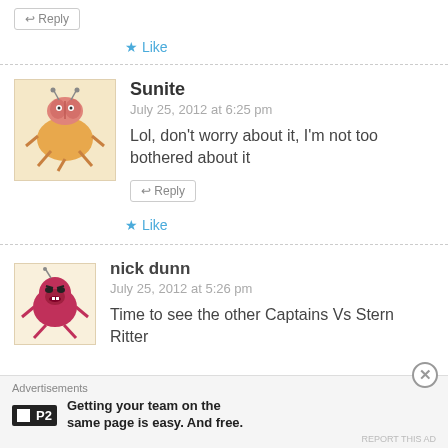↩ Reply
★ Like
Sunite
July 25, 2012 at 6:25 pm
Lol, don't worry about it, I'm not too bothered about it
↩ Reply
★ Like
nick dunn
July 25, 2012 at 5:26 pm
Time to see the other Captains Vs Stern Ritter
Advertisements
Getting your team on the same page is easy. And free.